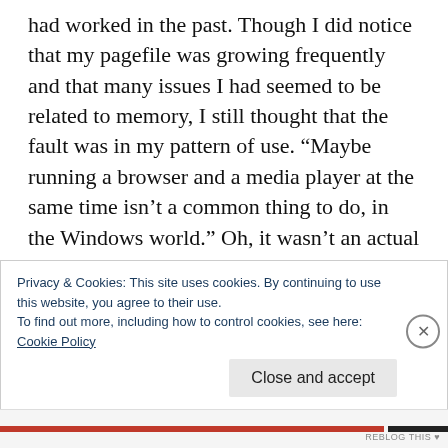had worked in the past. Though I did notice that my pagefile was growing frequently and that many issues I had seemed to be related to memory, I still thought that the fault was in my pattern of use. “Maybe running a browser and a media player at the same time isn’t a common thing to do, in the Windows world.” Oh, it wasn’t an actual reflection. But it’s a set of uneasy impressions I had.  And because I didn’t have much money for RAM (and the machine didn’t cost me much in the first place), I wasn’t
Privacy & Cookies: This site uses cookies. By continuing to use this website, you agree to their use.
To find out more, including how to control cookies, see here:
Cookie Policy
Close and accept